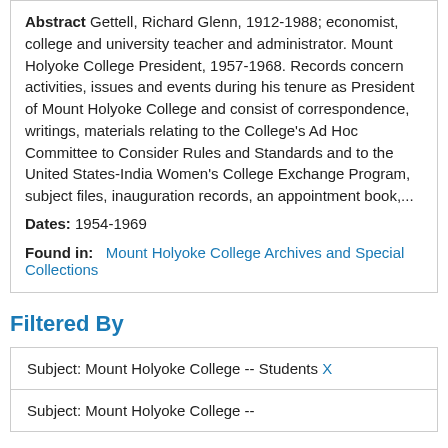Abstract Gettell, Richard Glenn, 1912-1988; economist, college and university teacher and administrator. Mount Holyoke College President, 1957-1968. Records concern activities, issues and events during his tenure as President of Mount Holyoke College and consist of correspondence, writings, materials relating to the College's Ad Hoc Committee to Consider Rules and Standards and to the United States-India Women's College Exchange Program, subject files, inauguration records, an appointment book,...
Dates: 1954-1969
Found in: Mount Holyoke College Archives and Special Collections
Filtered By
Subject: Mount Holyoke College -- Students X
Subject: Mount Holyoke College --